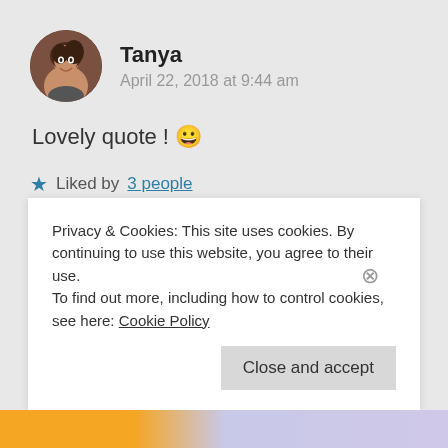[Figure (photo): Circular avatar photo of a woman named Tanya, dark hair, smiling]
Tanya
April 22, 2018 at 9:44 am
Lovely quote ! 😀
★ Liked by 3 people
↪ Reply
Privacy & Cookies: This site uses cookies. By continuing to use this website, you agree to their use.
To find out more, including how to control cookies, see here: Cookie Policy